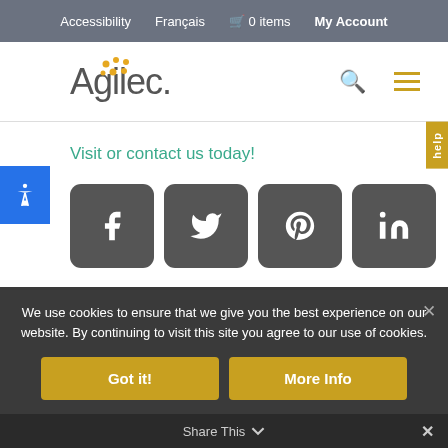Accessibility   Français   0 items   My Account
[Figure (logo): Agilec logo with orange dots above letters, search icon, and hamburger menu icon]
Visit or contact us today!
[Figure (infographic): Social media icon buttons: Facebook, Twitter, Pinterest, LinkedIn — all dark gray rounded squares with white icons]
We use cookies to ensure that we give you the best experience on our website. By continuing to visit this site you agree to our use of cookies.
Got it!   More Info
Share This